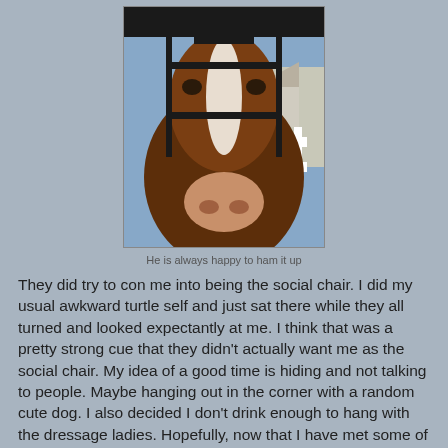[Figure (photo): Close-up photo of a bay horse with a white blaze, wearing a black bridle, nose close to camera, white fence and blue sky in background]
He is always happy to ham it up
They did try to con me into being the social chair.  I did my usual awkward turtle self and just sat there while they all turned and looked expectantly at me.  I think that was a pretty strong cue that they didn't actually want me as the social chair.  My idea of a good time is hiding and not talking to people.  Maybe hanging out in the corner with a random cute dog.  I also decided I don't drink enough to hang with the dressage ladies.  Hopefully, now that I have met some of the people I can get a little more involved and find another oddball like me.
EventingSaddlebredStyle at 1:00 AM    8 comments: